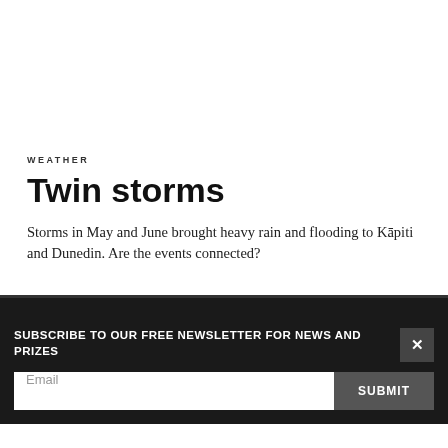WEATHER
Twin storms
Storms in May and June brought heavy rain and flooding to Kāpiti and Dunedin. Are the events connected?
SUBSCRIBE TO OUR FREE NEWSLETTER FOR NEWS AND PRIZES
Email
SUBMIT